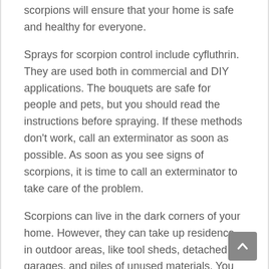scorpions will ensure that your home is safe and healthy for everyone.
Sprays for scorpion control include cyfluthrin. They are used both in commercial and DIY applications. The bouquets are safe for people and pets, but you should read the instructions before spraying. If these methods don't work, call an exterminator as soon as possible. As soon as you see signs of scorpions, it is time to call an exterminator to take care of the problem.
Scorpions can live in the dark corners of your home. However, they can take up residence in outdoor areas, like tool sheds, detached garages, and piles of unused materials. You need to keep your house dry to prevent them from entering your home. This is because scorpions like to hide in puddles and containers around your house. Therefore, you must clean these places to avoid further infestation.